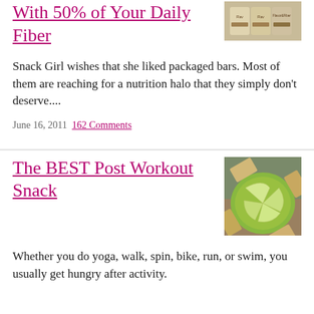With 50% of Your Daily Fiber
[Figure (photo): Packaged nutrition bars with labels showing flavor and fiber]
Snack Girl wishes that she liked packaged bars. Most of them are reaching for a nutrition halo that they simply don't deserve....
June 16, 2011  162 Comments
The BEST Post Workout Snack
[Figure (photo): Green plate with sliced apple wedges and whole grain crackers arranged in a pinwheel on a wooden surface]
Whether you do yoga, walk, spin, bike, run, or swim, you usually get hungry after activity.